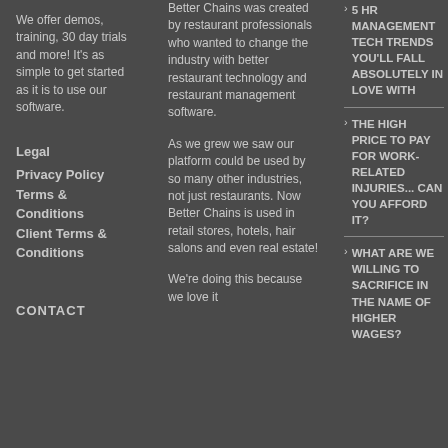We offer demos, training, 30 day trials and more! It's as simple to get started as it is to use our software.
Legal
Privacy Policy
Terms & Conditions
Client Terms & Conditions
CONTACT
Better Chains was created by restaurant professionals who wanted to change the industry with better restaurant technology and restaurant management software.
As we grew we saw our platform could be used by so many other industries, not just restaurants. Now Better Chains is used in retail stores, hotels, hair salons and even real estate!
We're doing this because we love it
5 HR MANAGEMENT TECH TRENDS YOU'LL FALL ABSOLUTELY IN LOVE WITH
THE HIGH PRICE TO PAY FOR WORK-RELATED INJURIES... CAN YOU AFFORD IT?
WHAT ARE WE WILLING TO SACRIFICE IN THE NAME OF HIGHER WAGES?